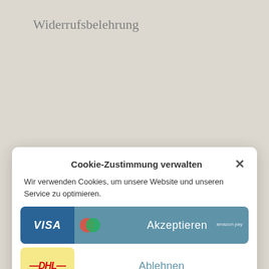Widerrufsbelehrung
[Figure (screenshot): Background page showing 'VERSAND & ZAHLUNG' heading with payment icons (PayPal, Klarna, Visa, Mastercard, Amazon Pay, DHL) partially visible behind the cookie consent modal]
Cookie-Zustimmung verwalten
Wir verwenden Cookies, um unsere Website und unseren Service zu optimieren.
Akzeptieren
Ablehnen
Einstellungen